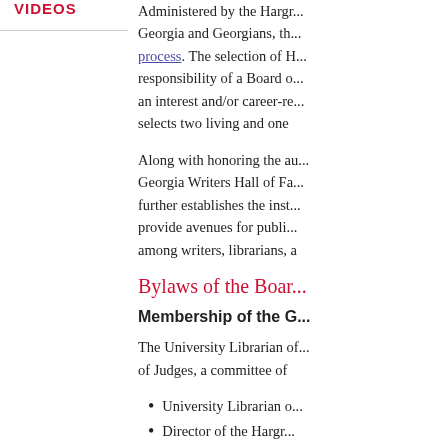VIDEOS
Administered by the Hargr... Georgia and Georgians, th... process. The selection of H... responsibility of a Board o... an interest and/or career-re... selects two living and one
Along with honoring the au... Georgia Writers Hall of Fa... further establishes the inst... provide avenues for publi... among writers, librarians, a
Bylaws of the Boar...
Membership of the G...
The University Librarian of... of Judges, a committee of
University Librarian o...
Director of the Hargr...
Director of the UGA...